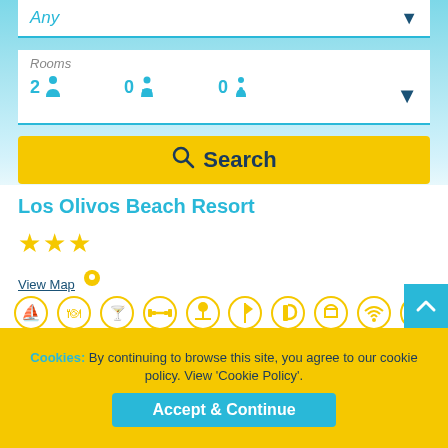Any
Rooms
2 adults 0 children 0 infants
Search
Los Olivos Beach Resort
[Figure (infographic): Three yellow star rating icons]
View Map
[Figure (infographic): Row of yellow circular amenity icons: pool, food, bar, gym, beach, golf, parking, laundry, wifi, facilities, 2-person, all-inclusive]
Cookies: By continuing to browse this site, you agree to our cookie policy. View 'Cookie Policy'.
Accept & Continue